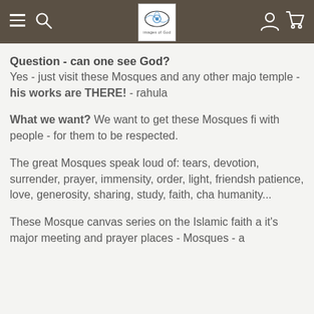Navigation bar with hamburger menu, search icon, Images of God logo, user icon, and cart icon
Question - can one see God?
Yes - just visit these Mosques and any other major temple - his works are THERE! - rahula
What we want? We want to get these Mosques fi with people - for them to be respected.
The great Mosques speak loud of: tears, devotion, surrender, prayer, immensity, order, light, friendsh patience, love, generosity, sharing, study, faith, ch humanity...
These Mosque canvas series on the Islamic faith a it's major meeting and prayer places - Mosques - a